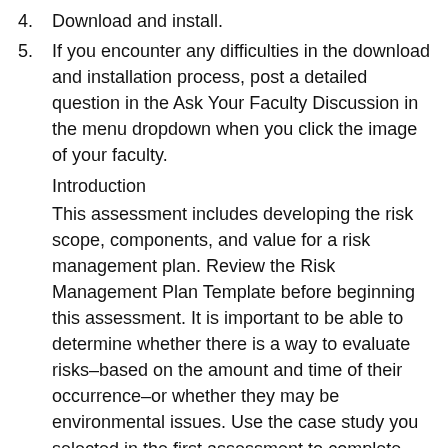4. Download and install.
5. If you encounter any difficulties in the download and installation process, post a detailed question in the Ask Your Faculty Discussion in the menu dropdown when you click the image of your faculty.
Introduction
This assessment includes developing the risk scope, components, and value for a risk management plan. Review the Risk Management Plan Template before beginning this assessment. It is important to be able to determine whether there is a way to evaluate risks–based on the amount and time of their occurrence–or whether they may be environmental issues. Use the case study you selected in the first assessment to complete this work.
Note: Developing a risk management plan for a